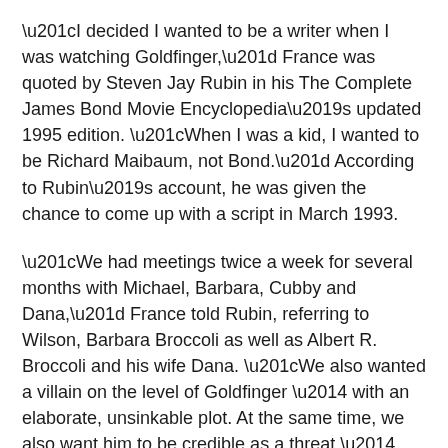“I decided I wanted to be a writer when I was watching Goldfinger,” France was quoted by Steven Jay Rubin in his The Complete James Bond Movie Encyclopedia’s updated 1995 edition. “When I was a kid, I wanted to be Richard Maibaum, not Bond.” According to Rubin’s account, he was given the chance to come up with a script in March 1993.
“We had meetings twice a week for several months with Michael, Barbara, Cubby and Dana,” France told Rubin, referring to Wilson, Barbara Broccoli as well as Albert R. Broccoli and his wife Dana. “We also wanted a villain on the level of Goldfinger — with an elaborate, unsinkable plot. At the same time, we also want him to be credible as a threat — that all of the story elements were based in reality, that these things could happen.”